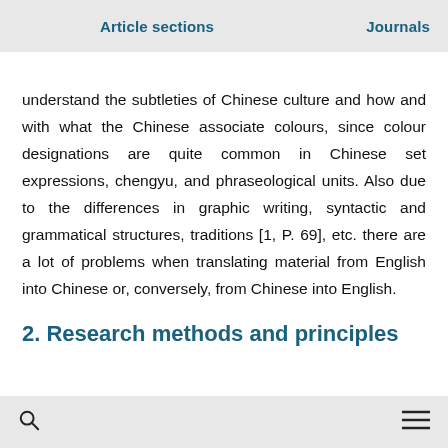Article sections    Journals
understand the subtleties of Chinese culture and how and with what the Chinese associate colours, since colour designations are quite common in Chinese set expressions, chengyu, and phraseological units. Also due to the differences in graphic writing, syntactic and grammatical structures, traditions [1, P. 69], etc. there are a lot of problems when translating material from English into Chinese or, conversely, from Chinese into English.
2. Research methods and principles